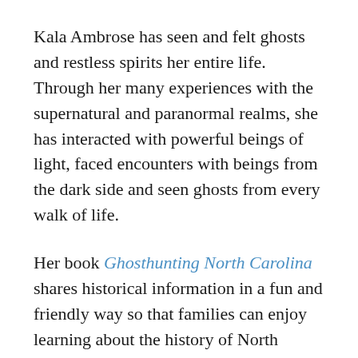Kala Ambrose has seen and felt ghosts and restless spirits her entire life. Through her many experiences with the supernatural and paranormal realms, she has interacted with powerful beings of light, faced encounters with beings from the dark side and seen ghosts from every walk of life.
Her book Ghosthunting North Carolina shares historical information in a fun and friendly way so that families can enjoy learning about the history of North Carolina while traveling and exploring the sites around the state in a unique way.
Explore haunted lighthouses, forts, and